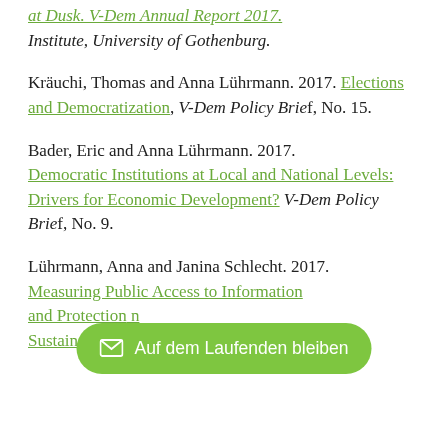at Dusk. V-Dem Annual Report 2017. V-Dem Institute, University of Gothenburg.
Kräuchi, Thomas and Anna Lührmann. 2017. Elections and Democratization, V-Dem Policy Brief, No. 15.
Bader, Eric and Anna Lührmann. 2017. Democratic Institutions at Local and National Levels: Drivers for Economic Development? V-Dem Policy Brief, No. 9.
Lührmann, Anna and Janina Schlecht. 2017. Measuring Public Access to Information and Protection ... Sustainable Development Target 16.10 with V-Dem Policy Brief, No. 7.